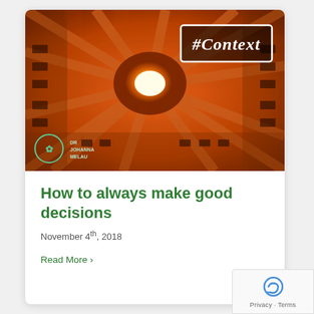[Figure (photo): Looking-up architectural photo of a building atrium/courtyard with orange/warm tones, geometric grid of beams converging to a bright light in the center. A white-bordered box with '#Context' in white italic text is overlaid in the upper right. A teal circular logo with 'DR JOHANNA MELAU' text appears in the lower left.]
How to always make good decisions
November 4th, 2018
Read More ›